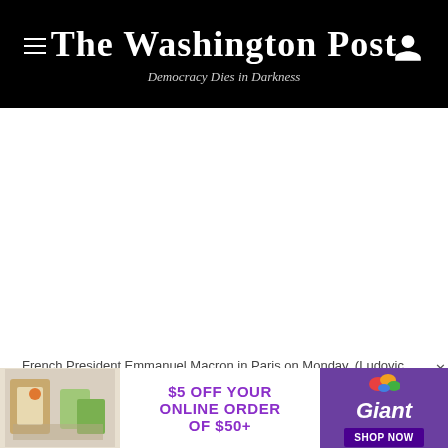The Washington Post — Democracy Dies in Darkness
[Figure (photo): White/blank area representing a photo of French President Emmanuel Macron in Paris]
French President Emmanuel Macron in Paris on Monday. (Ludovic Marin/AFP/Getty Images)
France and other European nations on Monday pledged
[Figure (other): Advertisement banner: $5 OFF YOUR ONLINE ORDER OF $50+ Giant SHOP NOW]